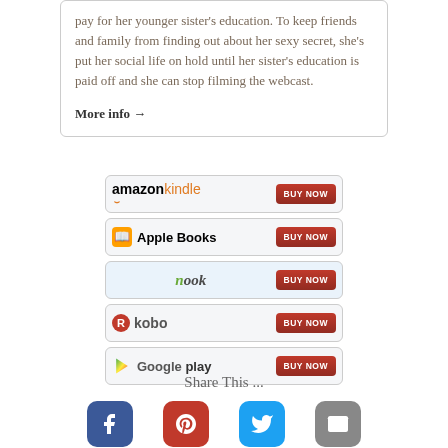pay for her younger sister's education. To keep friends and family from finding out about her sexy secret, she's put her social life on hold until her sister's education is paid off and she can stop filming the webcast.
More info →
[Figure (infographic): Amazon Kindle BUY NOW button]
[Figure (infographic): Apple Books BUY NOW button]
[Figure (infographic): Nook BUY NOW button]
[Figure (infographic): Kobo BUY NOW button]
[Figure (infographic): Google Play BUY NOW button]
Share This ...
[Figure (infographic): Social sharing icons: Facebook, Pinterest, Twitter, Email]